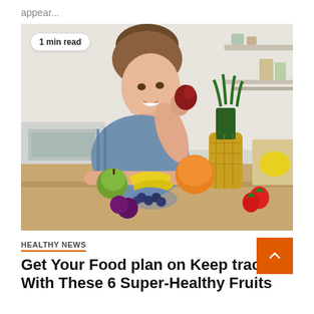appear...
[Figure (photo): Woman in a kitchen eating a red apple, leaning on a wooden counter with various fruits including pineapple, bananas, oranges, apples, blueberries, and strawberries. Badge overlay reads '1 min read'.]
1 min read
HEALTHY NEWS
Get Your Food plan on Keep track of With These 6 Super-Healthy Fruits